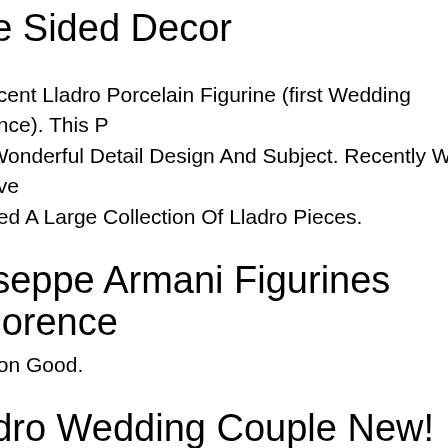ne Sided Decor
nificent Lladro Porcelain Figurine (first Wedding Dance). This P A Wonderful Detail Design And Subject. Recently We Have eived A Large Collection Of Lladro Pieces.
useppe Armani Figurines Florence
dition Good.
adro Wedding Couple New!
ro Wedding Couple New!.
ox Disney Belle's Wedding Dreams Cake Topper Figurine Beaut st 7.25 New. It's Wedding Bells For Belle And The Beast In This rming. Belle A Single Rose And His Heart. Belle Is Wearing A